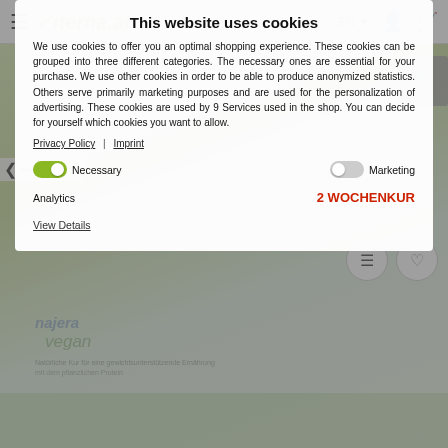Viterna.at — EN — navigation header with hamburger, logo, language selector, account and cart icons
This website uses cookies
We use cookies to offer you an optimal shopping experience. These cookies can be grouped into three different categories. The necessary ones are essential for your purchase. We use other cookies in order to be able to produce anonymized statistics. Others serve primarily marketing purposes and are used for the personalization of advertising. These cookies are used by 9 Services used in the shop. You can decide for yourself which cookies you want to allow.
Privacy Policy   Imprint
Necessary   Analytics   Marketing   2 WOCHENKUR
View Details
[Figure (screenshot): Background product page showing Najera Vegan supplement products with green branding, product images and navigation elements partially visible behind the cookie consent modal]